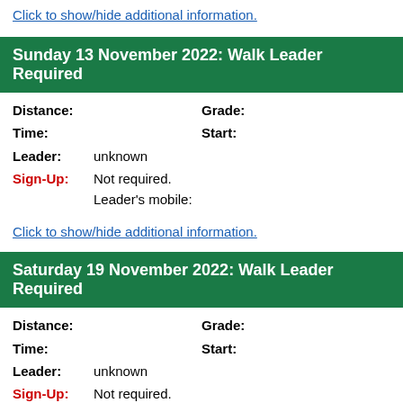Click to show/hide additional information.
Sunday 13 November 2022: Walk Leader Required
Distance:    Grade:
Time:    Start:
Leader: unknown
Sign-Up: Not required. Leader's mobile:
Click to show/hide additional information.
Saturday 19 November 2022: Walk Leader Required
Distance:    Grade:
Time:    Start:
Leader: unknown
Sign-Up: Not required. Leader's mobile:
Click to show/hide additional information.